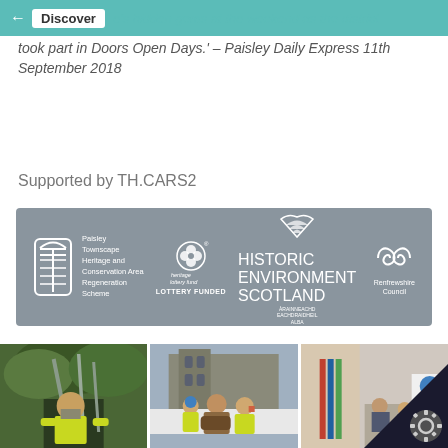← Discover e's hidden gems at the weekend as the district
took part in Doors Open Days.' – Paisley Daily Express 11th September 2018
Supported by TH.CARS2
[Figure (logo): Partner logos banner on grey background: Paisley Townscape Heritage and Conservation Area Regeneration Scheme logo, Heritage Lottery Fund LOTTERY FUNDED logo, Historic Environment Scotland / Àrainneachd Eachdraidheil Alba logo, Renfrewshire Council logo]
[Figure (photo): Person in medieval costume and high-visibility gear climbing in an excavation pit with metal poles]
[Figure (photo): Three people including one in medieval costume standing in front of Paisley Abbey with a construction hoarding, wearing high-visibility jackets]
[Figure (photo): Interior scene showing people in what appears to be a meeting or event, partially obscured by a cookie consent overlay with a gear icon]